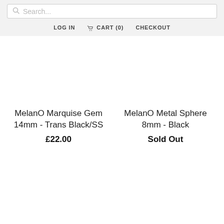Search...  LOG IN  CART (0)  CHECKOUT
MelanO Marquise Gem 14mm - Trans Black/SS
£22.00
MelanO Metal Sphere 8mm - Black
Sold Out